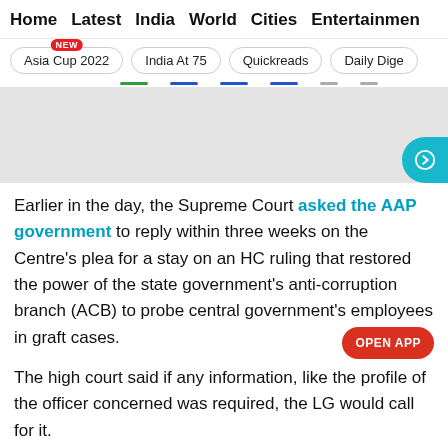Home  Latest  India  World  Cities  Entertainment
Asia Cup 2022  India At 75  Quickreads  Daily Dige
[Figure (other): Gray advertisement block with a teal circular arrow navigation button on the right side]
Earlier in the day, the Supreme Court asked the AAP government to reply within three weeks on the Centre's plea for a stay on an HC ruling that restored the power of the state government's anti-corruption branch (ACB) to probe central government's employees in graft cases.
The high court said if any information, like the profile of the officer concerned was required, the LG would call for it.
The court also asked the Centre about the practice in the past with respect to posting of bureaucrats and directed the MHA to give an affidavit stating what was the practice adopted in